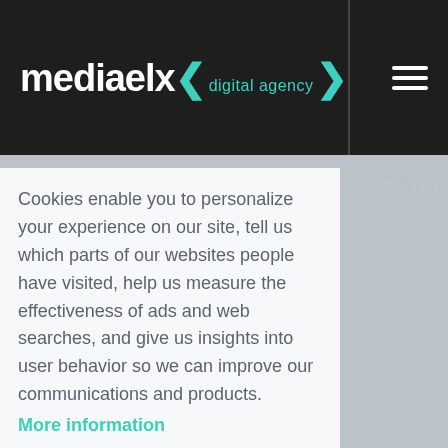mediaelx digital agency
Cookies enable you to personalize your experience on our site, tell us which parts of our websites people have visited, help us measure the effectiveness of ads and web searches, and give us insights into user behavior so we can improve our communications and products. More information
Accept Cookies
Customise Cookies